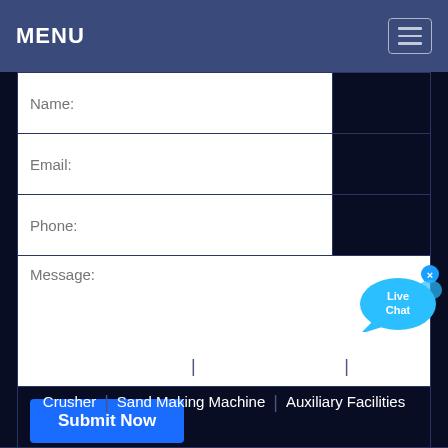MENU
[Figure (screenshot): Contact form with Name, Email, Phone fields and Message textarea, Submit Now button, and Live Chat bubble overlay]
Crushing Equipment | Grinding Equipment | Mobile Crusher | Sand Making Machine | Auxiliary Facilities